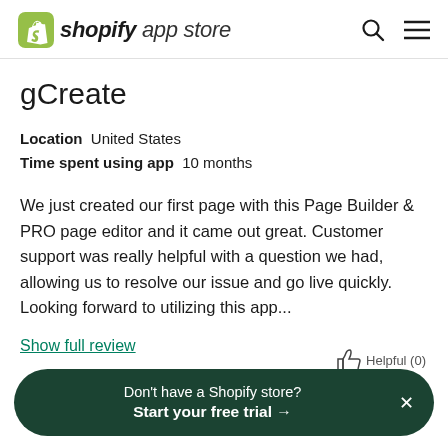shopify app store
gCreate
Location   United States
Time spent using app   10 months
We just created our first page with this Page Builder & PRO page editor and it came out great. Customer support was really helpful with a question we had, allowing us to resolve our issue and go live quickly. Looking forward to utilizing this app...
Show full review
Don't have a Shopify store?
Start your free trial →